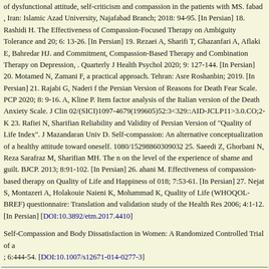of dysfunctional attitude, self-criticism and compassion in the patients with MS. fabad , Iran: Islamic Azad University, Najafabad Branch; 2018: 94-95. [In Persian] 18. Rashidi H. The Effectiveness of Compassion-Focused Therapy on Ambiguity Tolerance and 20; 6: 13-26. [In Persian] 19. Rezaei A, Sharifi T, Ghazanfari A, Aflaki E, Bahredar HJ. and Commitment, Compassion-Based Therapy and Combination Therapy on Depression, . Quarterly J Health Psychol 2020; 9: 127-144. [In Persian] 20. Motamed N, Zamani F, a practical approach. Tehran: Asre Roshanbin; 2019. [In Persian] 21. Rajabi G, Naderi f the Persian Version of Reasons for Death Fear Scale. PCP 2020; 8: 9-16. A, Kline P. Item factor analysis of the Italian version of the Death Anxiety Scale. J Clin 02/(SICI)1097-4679(199605)52:3<329::AID-JCLP11>3.0.CO;2-K 23. Rafiei N, Sharifian Reliability and Validity of Persian Version of "Quality of Life Index". J Mazandaran Univ D. Self-compassion: An alternative conceptualization of a healthy attitude toward oneself. 1080/15298860309032 25. Saeedi Z, Ghorbani N, Reza Sarafraz M, Sharifian MH. The n on the level of the experience of shame and guilt. BJCP. 2013; 8:91-102. [In Persian] 26. ahani M. Effectiveness of compassion-based therapy on Quality of Life and Happiness of 018; 7:53-61. [In Persian] 27. Nejat S, Montazeri A, Holakouie Naieni K, Mohammad K, Quality of Life (WHOQOL-BREF) questionnaire: Translation and validation study of the Health Res 2006; 4:1-12. [In Persian] [DOI:10.3892/etm.2017.4410]
Self-Compassion and Body Dissatisfaction in Women: A Randomized Controlled Trial of a ; 6:444-54. [DOI:10.1007/s12671-014-0277-3]
ارسال پیام به نویسنده مسئول